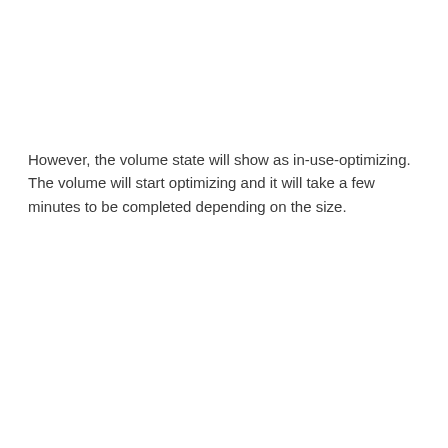However, the volume state will show as in-use-optimizing. The volume will start optimizing and it will take a few minutes to be completed depending on the size.